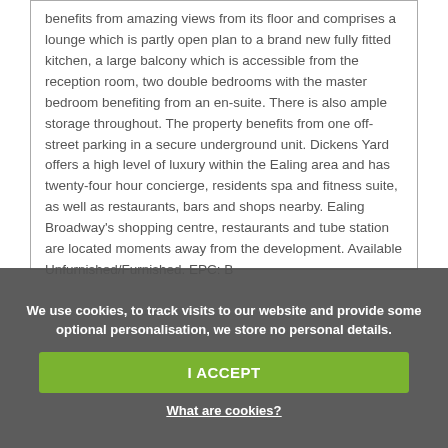benefits from amazing views from its floor and comprises a lounge which is partly open plan to a brand new fully fitted kitchen, a large balcony which is accessible from the reception room, two double bedrooms with the master bedroom benefiting from an en-suite. There is also ample storage throughout. The property benefits from one off-street parking in a secure underground unit. Dickens Yard offers a high level of luxury within the Ealing area and has twenty-four hour concierge, residents spa and fitness suite, as well as restaurants, bars and shops nearby. Ealing Broadway's shopping centre, restaurants and tube station are located moments away from the development. Available Unfurnished/Furnished. EPC: B
We use cookies, to track visits to our website and provide some optional personalisation, we store no personal details.
I ACCEPT
What are cookies?